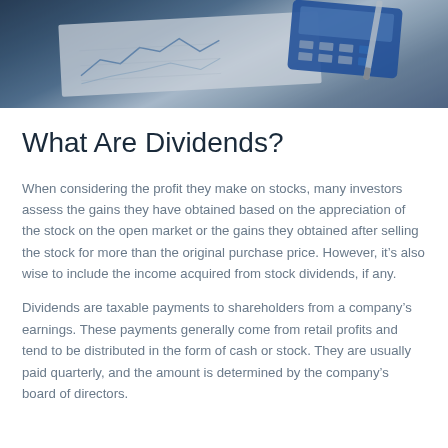[Figure (photo): Photo of a calculator, financial chart papers, and a pen on a desk — financial/investment themed image]
What Are Dividends?
When considering the profit they make on stocks, many investors assess the gains they have obtained based on the appreciation of the stock on the open market or the gains they obtained after selling the stock for more than the original purchase price. However, it’s also wise to include the income acquired from stock dividends, if any.
Dividends are taxable payments to shareholders from a company’s earnings. These payments generally come from retail profits and tend to be distributed in the form of cash or stock. They are usually paid quarterly, and the amount is determined by the company’s board of directors.